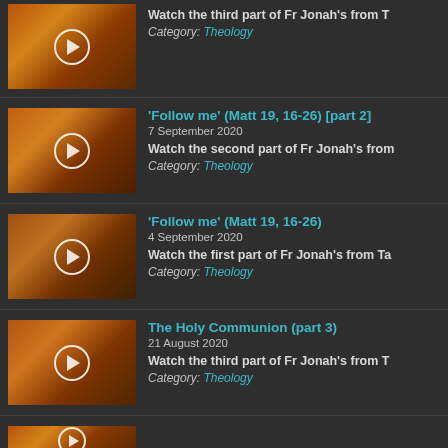Watch the third part of Fr Jonah's from T
Category: Theology
'Follow me' (Matt 19, 16-26) [part 2]
7 September 2020
Watch the second part of Fr Jonah's from
Category: Theology
'Follow me' (Matt 19, 16-26)
4 September 2020
Watch the first part of Fr Jonah's from Ta
Category: Theology
The Holy Communion (part 3)
21 August 2020
Watch the third part of Fr Jonah's from T
Category: Theology